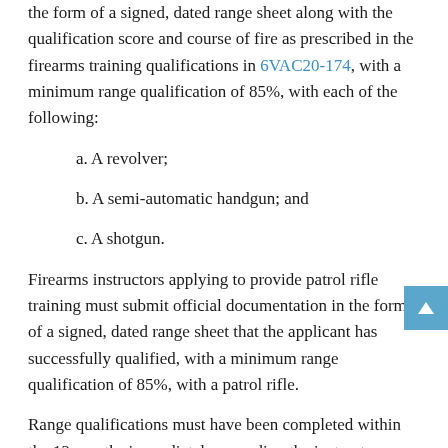the form of a signed, dated range sheet along with the qualification score and course of fire as prescribed in the firearms training qualifications in 6VAC20-174, with a minimum range qualification of 85%, with each of the following:
a. A revolver;
b. A semi-automatic handgun; and
c. A shotgun.
Firearms instructors applying to provide patrol rifle training must submit official documentation in the form of a signed, dated range sheet that the applicant has successfully qualified, with a minimum range qualification of 85%, with a patrol rifle.
Range qualifications must have been completed within the 12 months immediately preceding the instructor application date and have been completed at a Virginia criminal justice agency, training academy, correctional